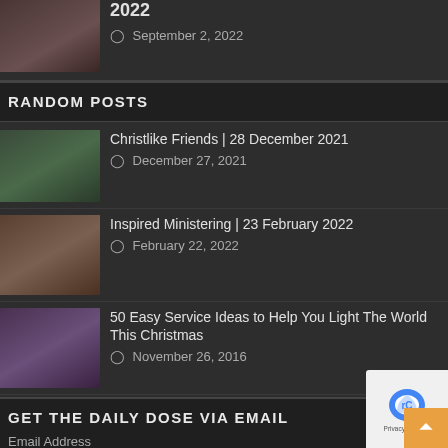[Figure (photo): Thumbnail photo of people, partially visible at top]
2022
September 2, 2022
RANDOM POSTS
[Figure (photo): Group of friends smiling outdoors near trees]
Christlike Friends | 28 December 2021
December 27, 2021
[Figure (photo): Women talking together, ministering scene]
Inspired Ministering | 23 February 2022
February 22, 2022
[Figure (photo): Woman in Santa hat wrapping Christmas gifts]
50 Easy Service Ideas to Help You Light The World This Christmas
November 26, 2016
GET THE DAILY DOSE VIA EMAIL
Email Address